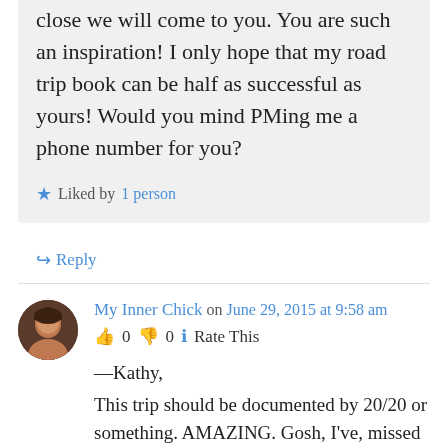close we will come to you. You are such an inspiration! I only hope that my road trip book can be half as successful as yours! Would you mind PMing me a phone number for you?
★ Liked by 1 person
↪ Reply
My Inner Chick on June 29, 2015 at 9:58 am
👍 0 👎 0 ℹ Rate This
—Kathy,
This trip should be documented by 20/20 or something. AMAZING. Gosh, I've, missed your interesting, fascinating, exciting, Soprano-like,